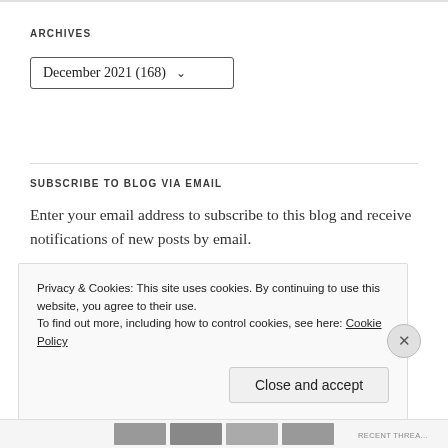ARCHIVES
December 2021 (168)
SUBSCRIBE TO BLOG VIA EMAIL
Enter your email address to subscribe to this blog and receive notifications of new posts by email.
Email Address
Privacy & Cookies: This site uses cookies. By continuing to use this website, you agree to their use.
To find out more, including how to control cookies, see here: Cookie Policy
Close and accept